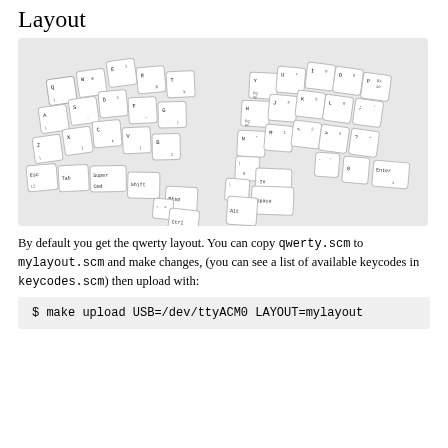Layout
[Figure (illustration): An ergonomic split keyboard layout diagram showing two halves of a keyboard with labeled keys including Q, W, E, R, T, A, S, D, F, G, Z, X, C, V, B on the left half and Y, U, I, O, P, H, J, K, L, N, M and other keys on the right half, along with modifier keys like Esc, Tab, Super, Cmd, Shift, Bksp, Ctrl on the left and Enter, Space, Alt on the right.]
By default you get the qwerty layout. You can copy qwerty.scm to mylayout.scm and make changes, (you can see a list of available keycodes in keycodes.scm) then upload with:
$ make upload USB=/dev/ttyACM0 LAYOUT=mylayout